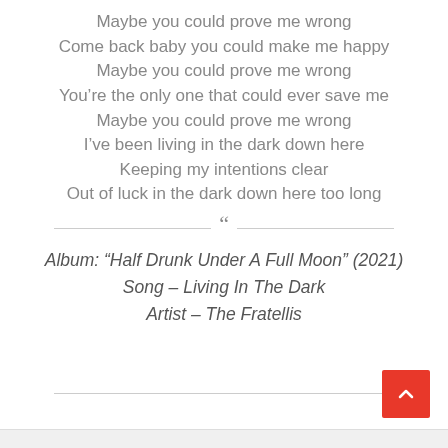Maybe you could prove me wrong
Come back baby you could make me happy
Maybe you could prove me wrong
You’re the only one that could ever save me
Maybe you could prove me wrong
I’ve been living in the dark down here
Keeping my intentions clear
Out of luck in the dark down here too long
Album: “Half Drunk Under A Full Moon” (2021)
Song – Living In The Dark
Artist – The Fratellis